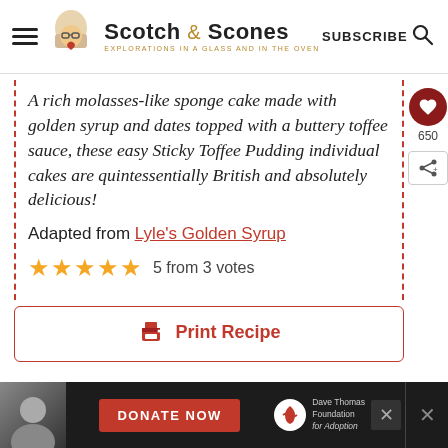Scotch & Scones — EXPLORATIONS IN A GLASS AND IN THE OVEN | SUBSCRIBE
A rich molasses-like sponge cake made with golden syrup and dates topped with a buttery toffee sauce, these easy Sticky Toffee Pudding individual cakes are quintessentially British and absolutely delicious!
Adapted from Lyle's Golden Syrup
5 from 3 votes
Print Recipe